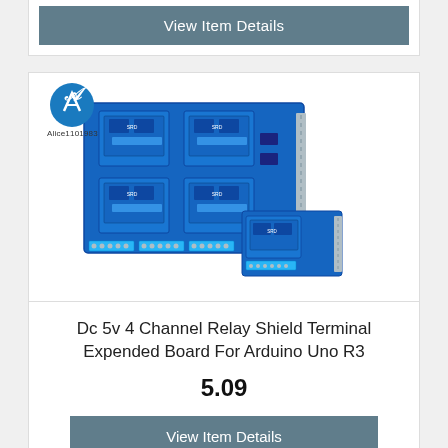View Item Details
[Figure (photo): DC 5V 4 Channel Relay Shield Terminal Expended Board for Arduino Uno R3 product photo, showing two blue relay shield PCBs — a larger 4-channel board and a smaller 1-channel board. Seller logo 'Alice1101983' shown top-left.]
Dc 5v 4 Channel Relay Shield Terminal Expended Board For Arduino Uno R3
5.09
View Item Details